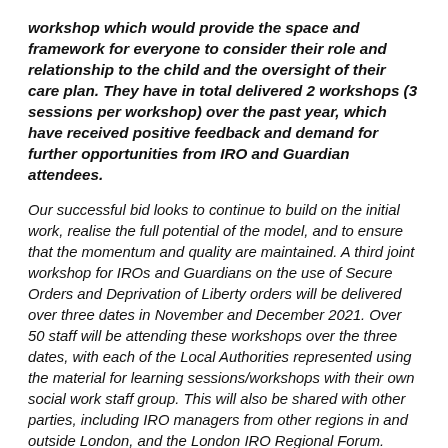workshop which would provide the space and framework for everyone to consider their role and relationship to the child and the oversight of their care plan. They have in total delivered 2 workshops (3 sessions per workshop) over the past year, which have received positive feedback and demand for further opportunities from IRO and Guardian attendees.
Our successful bid looks to continue to build on the initial work, realise the full potential of the model, and to ensure that the momentum and quality are maintained. A third joint workshop for IROs and Guardians on the use of Secure Orders and Deprivation of Liberty orders will be delivered over three dates in November and December 2021. Over 50 staff will be attending these workshops over the three dates, with each of the Local Authorities represented using the material for learning sessions/workshops with their own social work staff group. This will also be shared with other parties, including IRO managers from other regions in and outside London, and the London IRO Regional Forum.
The commitment of the six Local Authorities will continue